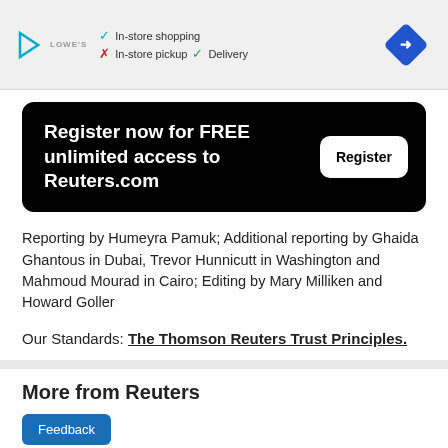[Figure (other): Advertisement banner showing Lowe's store info with checkmarks for In-store shopping and Delivery, X for In-store pickup, and a blue diamond direction arrow icon]
Register now for FREE unlimited access to Reuters.com
Register
Reporting by Humeyra Pamuk; Additional reporting by Ghaida Ghantous in Dubai, Trevor Hunnicutt in Washington and Mahmoud Mourad in Cairo; Editing by Mary Milliken and Howard Goller
Our Standards: The Thomson Reuters Trust Principles.
More from Reuters
Feedback